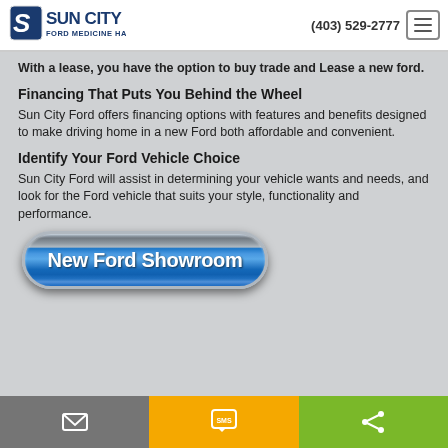Sun City Ford Medicine Hat | (403) 529-2777
With a lease, you have the option to buy trade and Lease a new ford.
Financing That Puts You Behind the Wheel
Sun City Ford offers financing options with features and benefits designed to make driving home in a new Ford both affordable and convenient.
Identify Your Ford Vehicle Choice
Sun City Ford will assist in determining your vehicle wants and needs, and look for the Ford vehicle that suits your style, functionality and performance.
[Figure (other): Blue pill-shaped button with text 'New Ford Showroom']
Email | SMS | Share